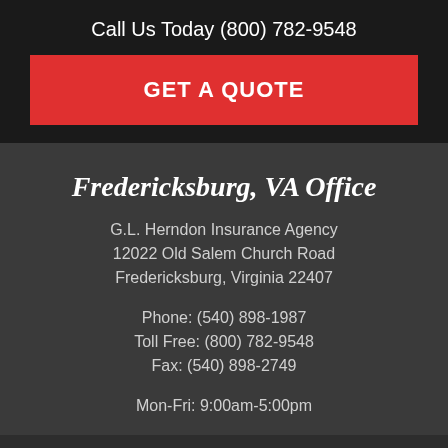Call Us Today (800) 782-9548
GET A QUOTE
Fredericksburg, VA Office
G.L. Herndon Insurance Agency
12022 Old Salem Church Road
Fredericksburg, Virginia 22407
Phone: (540) 898-1987
Toll Free: (800) 782-9548
Fax: (540) 898-2749
Mon-Fri: 9:00am-5:00pm